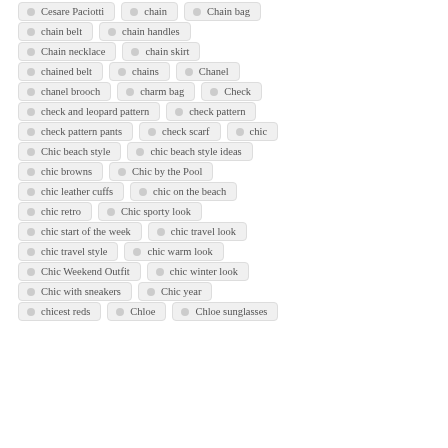Cesare Paciotti
chain
Chain bag
chain belt
chain handles
Chain necklace
chain skirt
chained belt
chains
Chanel
chanel brooch
charm bag
Check
check and leopard pattern
check pattern
check pattern pants
check scarf
chic
Chic beach style
chic beach style ideas
chic browns
Chic by the Pool
chic leather cuffs
chic on the beach
chic retro
Chic sporty look
chic start of the week
chic travel look
chic travel style
chic warm look
Chic Weekend Outfit
chic winter look
Chic with sneakers
Chic year
chicest reds
Chloe
Chloe sunglasses